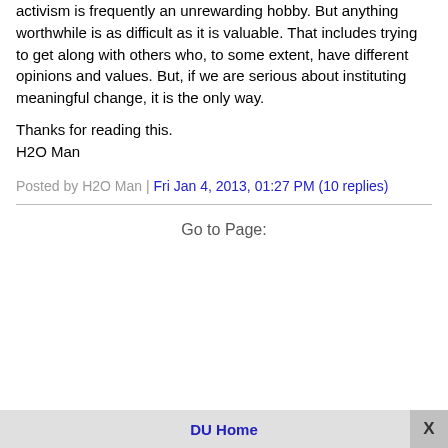activism is frequently an unrewarding hobby. But anything worthwhile is as difficult as it is valuable. That includes trying to get along with others who, to some extent, have different opinions and values. But, if we are serious about instituting meaningful change, it is the only way.
Thanks for reading this.
H2O Man
Posted by H2O Man | Fri Jan 4, 2013, 01:27 PM (10 replies)
Go to Page:
DU Home